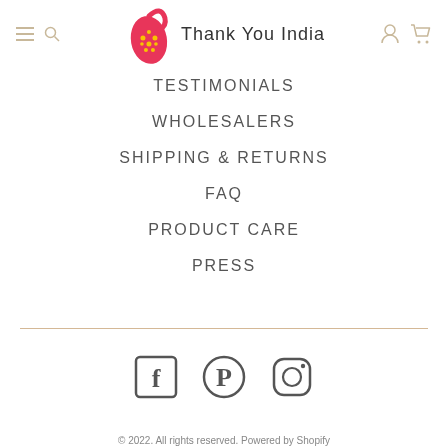[Figure (logo): Thank You India store logo with paisley graphic and handwritten text]
TESTIMONIALS
WHOLESALERS
SHIPPING & RETURNS
FAQ
PRODUCT CARE
PRESS
[Figure (illustration): Social media icons: Facebook, Pinterest, Instagram]
© 2022. All rights reserved. Powered by Shopify